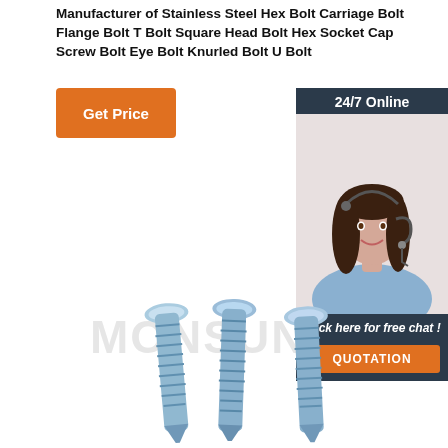Manufacturer of Stainless Steel Hex Bolt Carriage Bolt Flange Bolt T Bolt Square Head Bolt Hex Socket Cap Screw Bolt Eye Bolt Knurled Bolt U Bolt
[Figure (other): Orange 'Get Price' button]
[Figure (other): 24/7 Online chat widget with photo of customer service representative and 'Click here for free chat!' text and orange QUOTATION button]
[Figure (other): MONSUN watermark text in light gray]
[Figure (photo): Three blue/silver self-drilling screws arranged side by side, showing threaded shafts and drill-point tips]